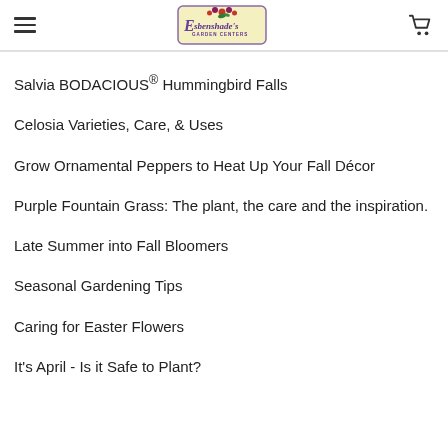Esbenshade's Garden Centers - navigation menu
Salvia BODACIOUS® Hummingbird Falls
Celosia Varieties, Care, & Uses
Grow Ornamental Peppers to Heat Up Your Fall Décor
Purple Fountain Grass: The plant, the care and the inspiration.
Late Summer into Fall Bloomers
Seasonal Gardening Tips
Caring for Easter Flowers
It's April - Is it Safe to Plant?